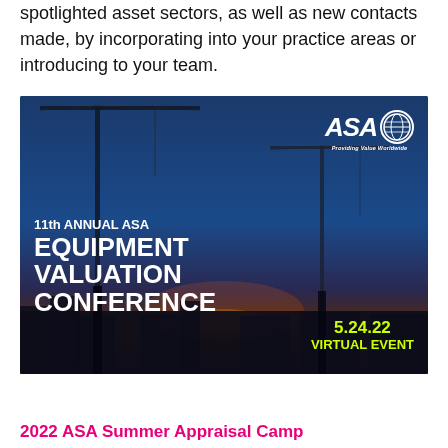spotlighted asset sectors, as well as new contacts made, by incorporating into your practice areas or introducing to your team.
[Figure (illustration): 11th Annual ASA Equipment Valuation Conference banner image showing construction crane silhouettes against a sunset sky, with ASA logo (Providing Value Worldwide) in upper right, conference title text in white on left, and date 5.24.22 Virtual Event in yellow-green on lower right.]
2022 ASA Summer Appraisal Camp